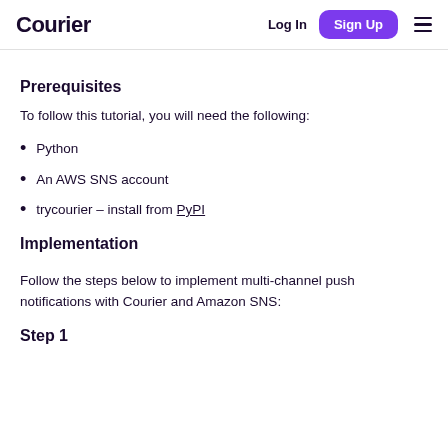Courier  Log In  Sign Up
Prerequisites
To follow this tutorial, you will need the following:
Python
An AWS SNS account
trycourier – install from PyPI
Implementation
Follow the steps below to implement multi-channel push notifications with Courier and Amazon SNS:
Step 1